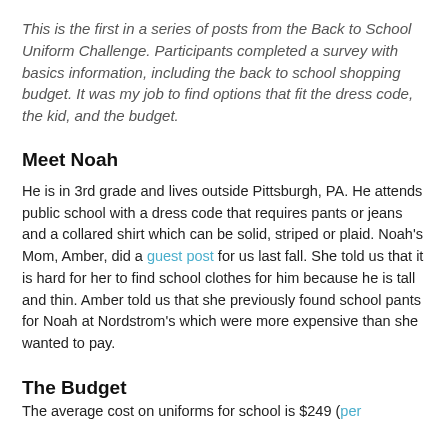This is the first in a series of posts from the Back to School Uniform Challenge.  Participants completed a survey with basics information, including the back to school shopping budget.  It was my job to find options that fit the dress code, the kid, and the budget.
Meet Noah
He is in 3rd grade and lives outside Pittsburgh, PA.  He attends public school with a dress code that requires pants or jeans and a collared shirt which can be solid, striped or plaid.  Noah's Mom, Amber, did a guest post for us last fall.  She told us that it is hard for her to find school clothes for him because he is tall and thin. Amber told us that she previously found school pants for Noah at Nordstrom's which were more expensive than she wanted to pay.
The Budget
The average cost on uniforms for school is $249 (per